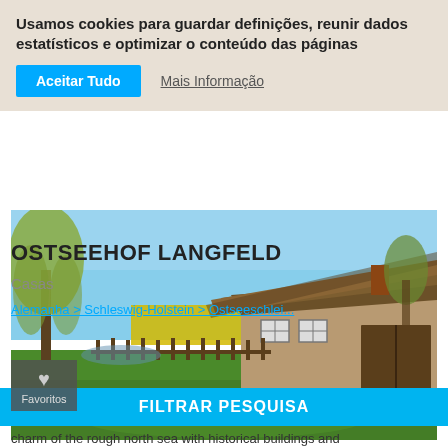Usamos cookies para guardar definições, reunir dados estatísticos e optimizar o conteúdo das páginas
Aceitar Tudo
Mais Informação
[Figure (photo): A traditional thatched-roof farmhouse with stone walls and white-framed windows, surrounded by green lawn, a wooden fence, willow tree, and yellow rapeseed field under a blue sky.]
Favoritos
OSTSEEHOF LANGFELD
Casas
charm of the rough north sea with historical buildings and
FILTRAR PESQUISA